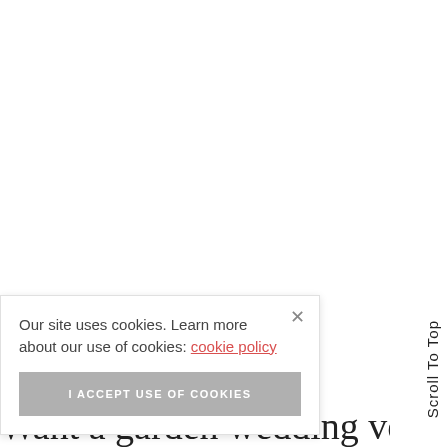Our site uses cookies. Learn more about our use of cookies: cookie policy
I ACCEPT USE OF COOKIES
Scroll To Top
Want a garden wedding venue that's in the middle